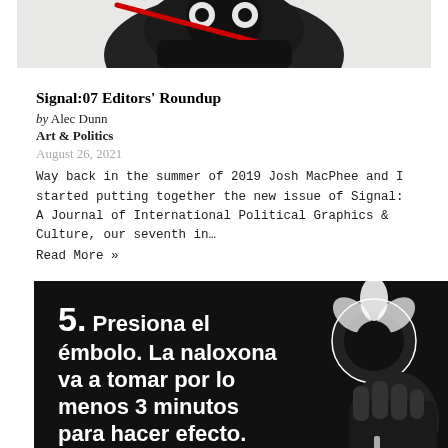[Figure (illustration): Black and white illustration showing a figure, partially cropped at top, with a red diagonal element visible.]
Signal:07 Editors' Roundup
by Alec Dunn
Art & Politics
August 26, 2021
Way back in the summer of 2019 Josh MacPhee and I started putting together the new issue of Signal: A Journal of International Political Graphics & Culture, our seventh in… Read More »
[Figure (illustration): Black and white illustration showing a hand holding a syringe/nasal spray, with bold white Spanish text reading: '5. Presiona el émbolo. La naloxona va a tomar por lo menos 3 minutos para hacer efecto.']